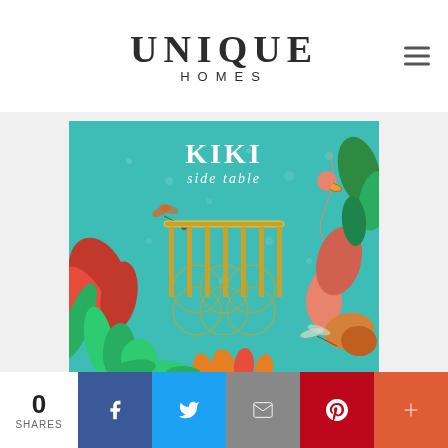UNIQUE HOMES
[Figure (illustration): Marketing image for KIKI side table product by a luxury furniture brand. Teal/turquoise background with tropical botanical elements including flamingo, dragonflies, palm fronds, heliconia flowers and ferns surrounding an elegant gold side table with circular interlocking ring base design. Text overlay reads: KIKI side table]
0 SHARES
[Figure (infographic): Social sharing bar with 5 buttons: Facebook (blue), Twitter (light blue), Email (grey), Pinterest (red), More/Plus (orange-red), and a share counter showing 0 SHARES]